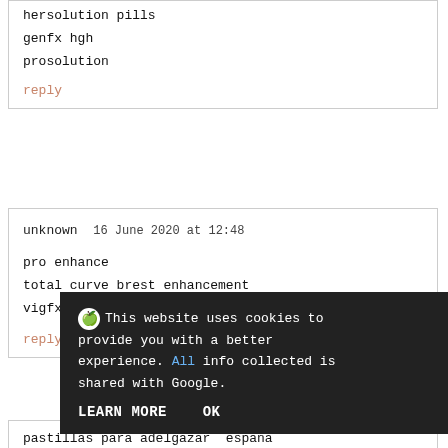hersolution pills
genfx hgh
prosolution
reply
unknown  16 June 2020 at 12:48
pro enhance
total curve brest enhancement
vigfx ingredients
reply
This website uses cookies to provide you with a better experience. All info collected is shared with Google.
LEARN MORE    OK
pastillas para adelgazar espana